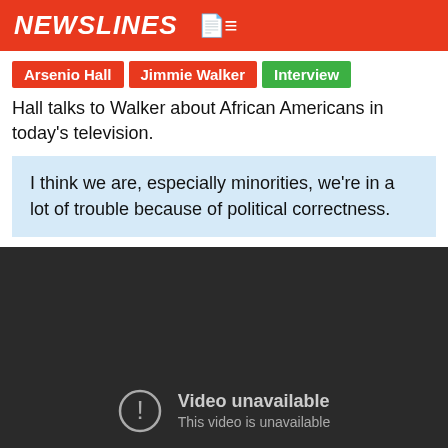NEWSLINES
Arsenio Hall  Jimmie Walker  Interview
Hall talks to Walker about African Americans in today's television.
I think we are, especially minorities, we're in a lot of trouble because of political correctness.
[Figure (screenshot): Embedded video player showing 'Video unavailable / This video is unavailable' message on a dark background.]